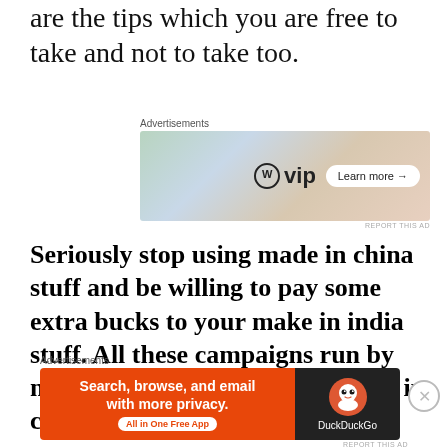are the tips which you are free to take and not to take too.
[Figure (other): WordPress VIP advertisement banner with colorful background showing social media brand names, with a 'Learn more →' button]
Seriously stop using made in china stuff and be willing to pay some extra bucks to your make in india stuff. All these campaigns run by media houses of boycotting made in china stuff are a good initiative.
[Figure (other): DuckDuckGo advertisement: 'Search, browse, and email with more privacy. All in One Free App' with orange background on left and DuckDuckGo logo on dark background on right]